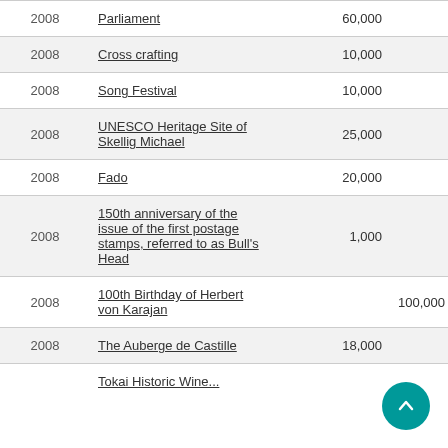| Year | Name |  |  |  |  |
| --- | --- | --- | --- | --- | --- |
| 2008 | Parliament |  | 60,000 |  |  |
| 2008 | Cross crafting |  | 10,000 |  |  |
| 2008 | Song Festival |  | 10,000 |  |  |
| 2008 | UNESCO Heritage Site of Skellig Michael |  | 25,000 |  |  |
| 2008 | Fado |  | 20,000 |  | 150,000 |
| 2008 | 150th anniversary of the issue of the first postage stamps, referred to as Bull's Head |  | 1,000 |  |  |
| 2008 | 100th Birthday of Herbert von Karajan |  |  | 100,000 | 150,000 |
| 2008 | The Auberge de Castille |  | 18,000 |  |  |
| 2008 | Tokai Historic Wine... |  |  |  |  |